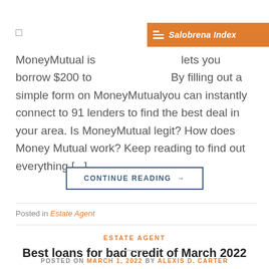[Figure (logo): Salobrena Index orange banner logo with horizontal lines icon and italic text]
MoneyMutual is ... lets you borrow $200 to ... By filling out a simple form on MoneyMutualyou can instantly connect to 91 lenders to find the best deal in your area. Is MoneyMutual legit? How does Money Mutual work? Keep reading to find out everything [...]
CONTINUE READING →
Posted in Estate Agent
ESTATE AGENT
Best loans for bad credit of March 2022 – Forbes Advisor
POSTED ON MARCH 1, 2022 BY ALEXIS D. CARTER